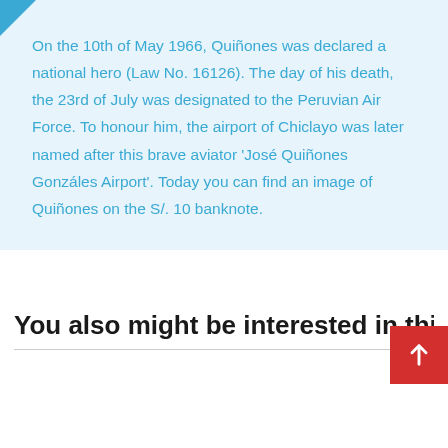On the 10th of May 1966, Quiñones was declared a national hero (Law No. 16126). The day of his death, the 23rd of July was designated to the Peruvian Air Force. To honour him, the airport of Chiclayo was later named after this brave aviator 'José Quiñones Gonzáles Airport'. Today you can find an image of Quiñones on the S/. 10 banknote.
You also might be interested in thi…